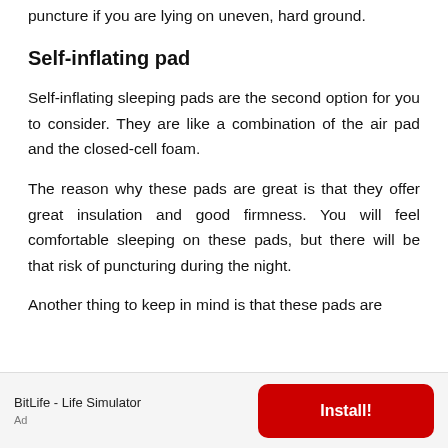puncture if you are lying on uneven, hard ground.
Self-inflating pad
Self-inflating sleeping pads are the second option for you to consider. They are like a combination of the air pad and the closed-cell foam.
The reason why these pads are great is that they offer great insulation and good firmness. You will feel comfortable sleeping on these pads, but there will be that risk of puncturing during the night.
Another thing to keep in mind is that these pads are
BitLife - Life Simulator
Ad
Install!